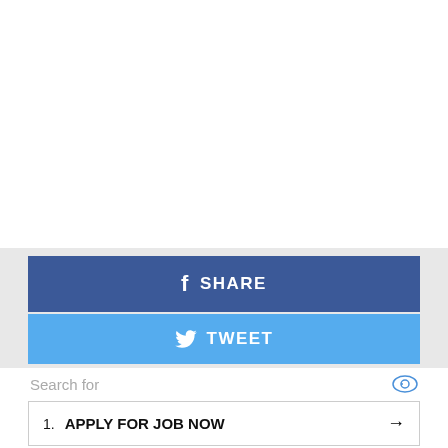[Figure (other): White empty space at top of page]
f  SHARE
🐦  TWEET
Search for
1.  APPLY FOR JOB NOW →
2.  FREE INTERNET TV STREAMING →
Ad | Cellphone Guru